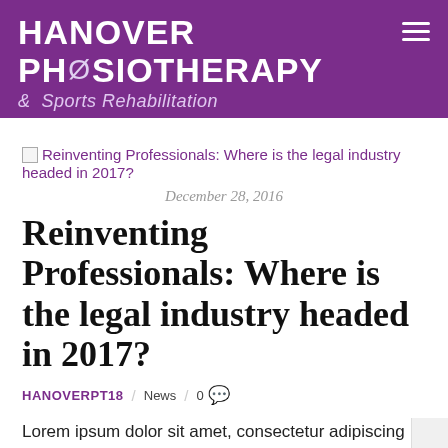HANOVER PHYSIOTHERAPY & Sports Rehabilitation
[Figure (other): Broken image placeholder for article thumbnail with link text: Reinventing Professionals: Where is the legal industry headed in 2017?]
December 28, 2016
Reinventing Professionals: Where is the legal industry headed in 2017?
HANOVERPT18 / News / 0
Lorem ipsum dolor sit amet, consectetur adipiscing elit. Proclivi currit oratio. Polemoni et iam ante Aristoteli ea prima visa sunt, quae paulo ante dixi.